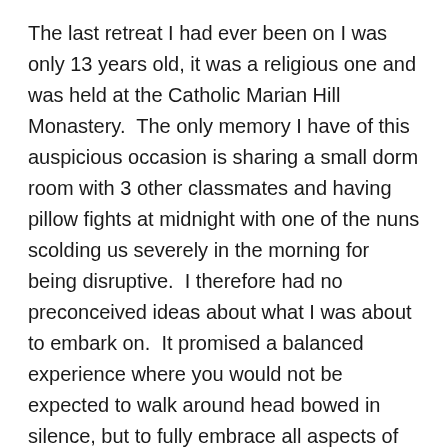The last retreat I had ever been on I was only 13 years old, it was a religious one and was held at the Catholic Marian Hill Monastery.  The only memory I have of this auspicious occasion is sharing a small dorm room with 3 other classmates and having pillow fights at midnight with one of the nuns scolding us severely in the morning for being disruptive.  I therefore had no preconceived ideas about what I was about to embark on.  It promised a balanced experience where you would not be expected to walk around head bowed in silence, but to fully embrace all aspects of life – from dancing on the beach till dawn to questions with a holy guru in one of the holiest of cities in India.
They lived up to their promises, encompassing the teaching of seven sacred miracles. Intention, masterpiece, gratitude, balance, integrity, humour and love.